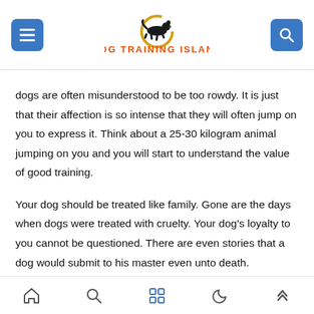[Figure (logo): Dog Training Island logo with leaping dog silhouette inside a golden circular arc and orange text 'DOG TRAINING ISLAND']
dogs are often misunderstood to be too rowdy. It is just that their affection is so intense that they will often jump on you to express it. Think about a 25-30 kilogram animal jumping on you and you will start to understand the value of good training.
Your dog should be treated like family. Gone are the days when dogs were treated with cruelty. Your dog's loyalty to you cannot be questioned. There are even stories that a dog would submit to his master even unto death.